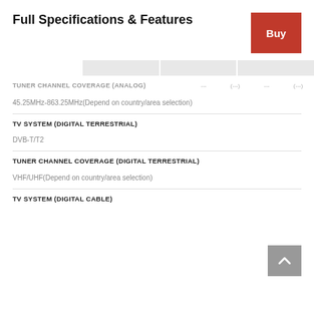Full Specifications & Features
Buy
TUNER CHANNEL COVERAGE (ANALOG)
45.25MHz-863.25MHz(Depend on country/area selection)
TV SYSTEM (DIGITAL TERRESTRIAL)
DVB-T/T2
TUNER CHANNEL COVERAGE (DIGITAL TERRESTRIAL)
VHF/UHF(Depend on country/area selection)
TV SYSTEM (DIGITAL CABLE)